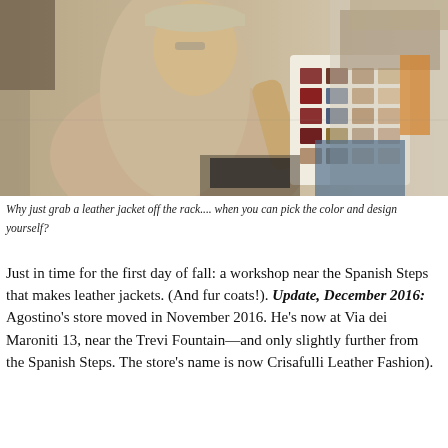[Figure (photo): A man in a beige polo shirt and cap examines a leather color swatch book in a leather goods shop. Clothing racks and shop interior visible in background including a mirror reflection.]
Why just grab a leather jacket off the rack.... when you can pick the color and design yourself?
Just in time for the first day of fall: a workshop near the Spanish Steps that makes leather jackets. (And fur coats!). (Update, December 2016: Agostino’s store moved in November 2016. He’s now at Via dei Maroniti 13, near the Trevi Fountain—and only slightly further from the Spanish Steps. The store’s name is now Crisafulli Leather Fashion).